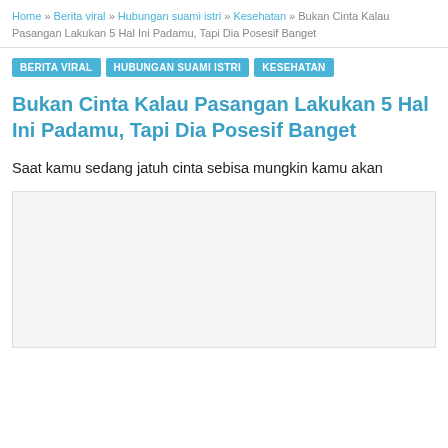Home » Berita viral » Hubungan suami istri » Kesehatan » Bukan Cinta Kalau Pasangan Lakukan 5 Hal Ini Padamu, Tapi Dia Posesif Banget
BERITA VIRAL  HUBUNGAN SUAMI ISTRI  KESEHATAN
Bukan Cinta Kalau Pasangan Lakukan 5 Hal Ini Padamu, Tapi Dia Posesif Banget
Saat kamu sedang jatuh cinta sebisa mungkin kamu akan
[Figure (photo): Image placeholder area below article intro text]